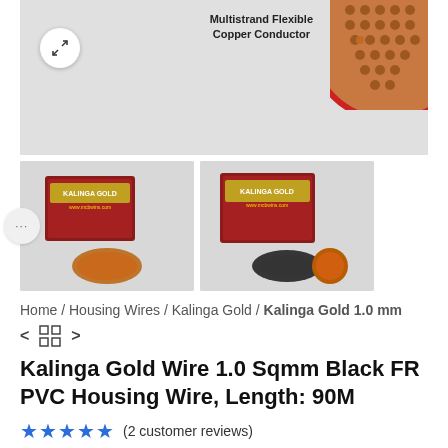[Figure (photo): Main product image showing Kalinga Gold wire with annotation 'Multistrand Flexible Copper Conductor' and copper conductor cross-section visible in top right. Expand icon button in top left.]
[Figure (photo): Thumbnail 1: Kalinga Gold wire product box with red packaging, showing coiled wire]
[Figure (photo): Thumbnail 2: Kalinga Gold wire product box with red packaging and black wire coil]
Home / Housing Wires / Kalinga Gold / Kalinga Gold 1.0 mm
< grid-icon >
Kalinga Gold Wire 1.0 Sqmm Black FR PVC Housing Wire, Length: 90M
★★★★★ (2 customer reviews)
₹1,100.00  ₹297.00